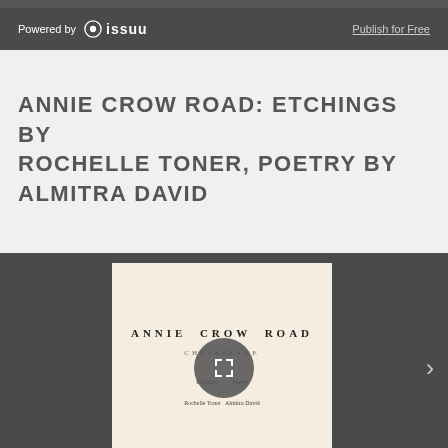Powered by issuu   Publish for Free
ANNIE CROW ROAD: ETCHINGS BY ROCHELLE TONER, POETRY BY ALMITRA DAVID
[Figure (screenshot): Issuu document viewer showing the cover of 'Annie Crow Road' book with subtitle 'Chesapeake' and author credits for Rochelle Toner and Almitra David, with an expand/fullscreen button overlay and a next-page arrow on the right]